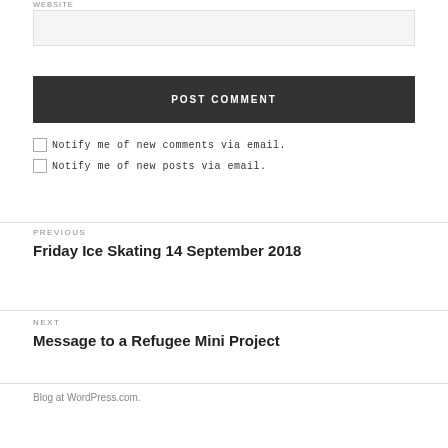WEBSITE
POST COMMENT
Notify me of new comments via email.
Notify me of new posts via email.
PREVIOUS
Friday Ice Skating 14 September 2018
NEXT
Message to a Refugee Mini Project
Blog at WordPress.com.